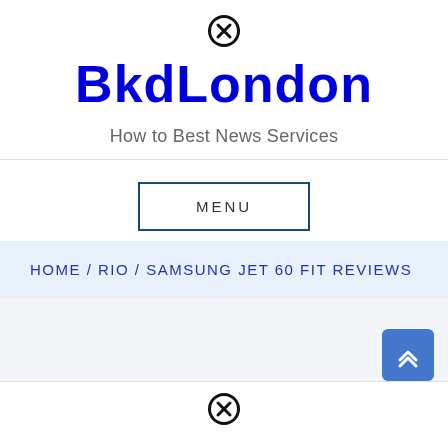[Figure (other): Close/dismiss icon (circle with X) at top center]
BkdLondon
How to Best News Services
MENU
HOME /  RIO /  SAMSUNG JET 60 FIT REVIEWS
[Figure (other): Scroll-to-top button (blue rounded square with double up-arrow chevron)]
[Figure (other): Close/dismiss icon (circle with X) at bottom center]